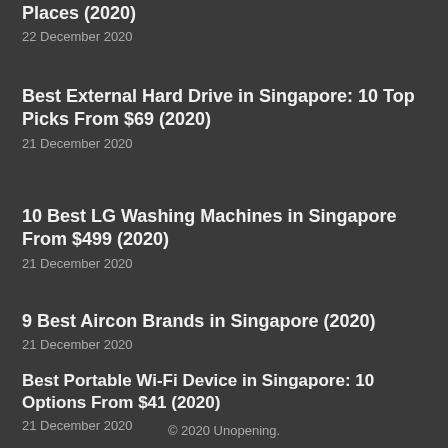Places (2020)
22 December 2020
Best External Hard Drive in Singapore: 10 Top Picks From $69 (2020)
21 December 2020
10 Best LG Washing Machines in Singapore From $499 (2020)
21 December 2020
9 Best Aircon Brands in Singapore (2020)
21 December 2020
Best Portable Wi-Fi Device in Singapore: 10 Options From $41 (2020)
21 December 2020
© 2020 Unopening.